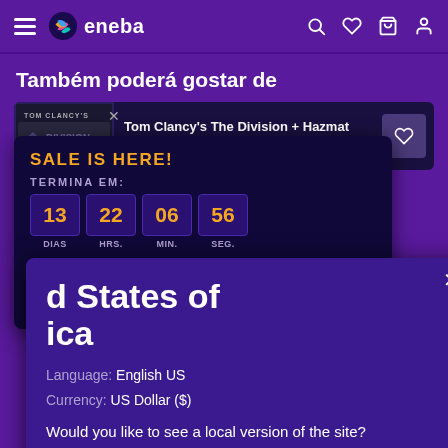eneba — navigation bar with hamburger menu, logo, search, wishlist, cart, account icons
Também poderá gostar de
[Figure (screenshot): Tom Clancy's The Division + Hazmat Set Uplay Key GLOBAL product card with wishlist button]
SALE IS HERE!
TERMINA EM:
13 DIAS  22 HRS.  06 MIN.  56 SEG.
Vê as ofertas disponíveis
d States of ica
Language: English US
Currency: US Dollar ($)
Would you like to see a local version of the site?
Yes